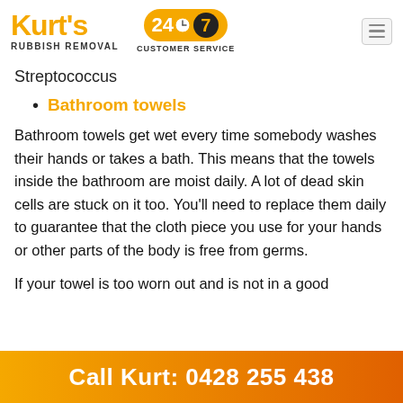[Figure (logo): Kurt's Rubbish Removal logo with orange text and 24/7 Customer Service badge]
Streptococcus
Bathroom towels
Bathroom towels get wet every time somebody washes their hands or takes a bath. This means that the towels inside the bathroom are moist daily. A lot of dead skin cells are stuck on it too. You'll need to replace them daily to guarantee that the cloth piece you use for your hands or other parts of the body is free from germs.
If your towel is too worn out and is not in a good
Call Kurt: 0428 255 438